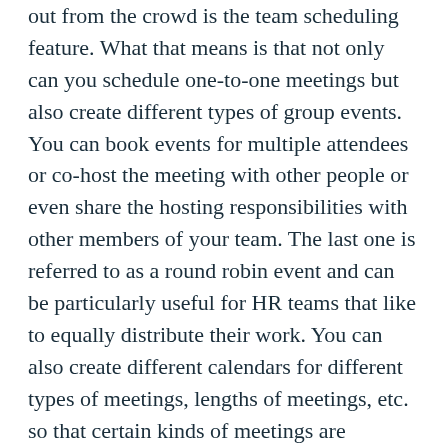out from the crowd is the team scheduling feature. What that means is that not only can you schedule one-to-one meetings but also create different types of group events. You can book events for multiple attendees or co-host the meeting with other people or even share the hosting responsibilities with other members of your team. The last one is referred to as a round robin event and can be particularly useful for HR teams that like to equally distribute their work. You can also create different calendars for different types of meetings, lengths of meetings, etc. so that certain kinds of meetings are scheduled for 30 minutes only and others for 60.
Be aware though, a lot of the features that make